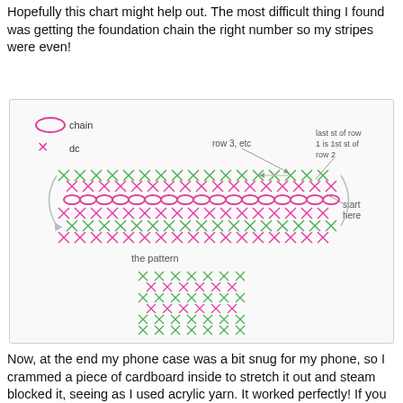Hopefully this chart might help out. The most difficult thing I found was getting the foundation chain the right number so my stripes were even!
[Figure (illustration): Crochet stitch diagram showing a striped pattern with chain stitches (magenta ovals) and dc stitches (X marks in magenta and green). The main diagram shows a wide rectangular band with labels: 'chain', 'dc', 'row 3, etc', 'last st of row 1 is 1st st of row 2', and 'start here'. Below is a smaller inset labeled 'the pattern' showing the repeating X cross-stitch grid pattern in magenta and green.]
Now, at the end my phone case was a bit snug for my phone, so I crammed a piece of cardboard inside to stretch it out and steam blocked it, seeing as I used acrylic yarn. It worked perfectly! If you use wool blocking will do much more wonderous things for you, so it might stretch out a bit